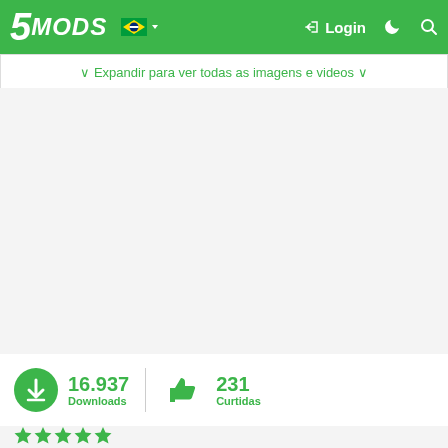5MODS — Login
∨ Expandir para ver todas as imagens e videos ∨
16.937 Downloads   231 Curtidas